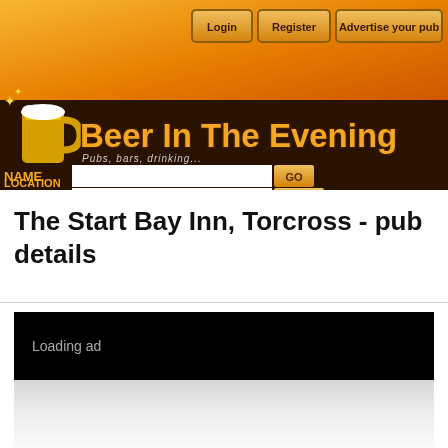[Figure (screenshot): Beer In The Evening website header with orange gradient background, beer mug illustration, site title, subtitle 'Pubs, bars, drinking...', navigation buttons (Login, Register, Advertise your pub), and search fields for NAME and LOCATION with GO buttons]
The Start Bay Inn, Torcross - pub details
[Figure (other): Black advertisement loading block with text 'Loading ad' and a grey gradient reflection below it]